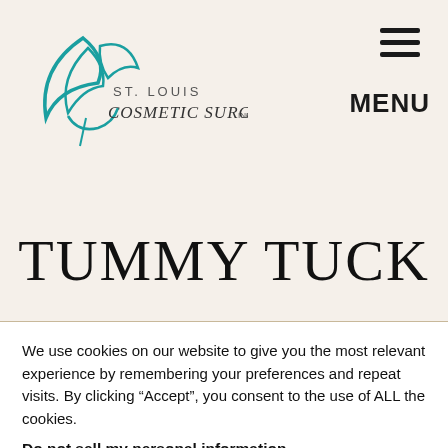[Figure (logo): St. Louis Cosmetic Surgery Inc. logo with teal leaf/bird design and text]
TUMMY TUCK
We use cookies on our website to give you the most relevant experience by remembering your preferences and repeat visits. By clicking “Accept”, you consent to the use of ALL the cookies.
Do not sell my personal information.